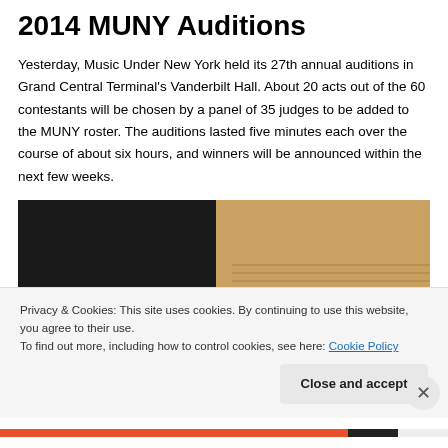2014 MUNY Auditions
Yesterday, Music Under New York held its 27th annual auditions in Grand Central Terminal's Vanderbilt Hall. About 20 acts out of the 60 contestants will be chosen by a panel of 35 judges to be added to the MUNY roster. The auditions lasted five minutes each over the course of about six hours, and winners will be announced within the next few weeks.
[Figure (photo): Interior of Vanderbilt Hall at Grand Central Terminal showing a draped black curtain on the left and ornate golden/tan stone walls on the right]
Privacy & Cookies: This site uses cookies. By continuing to use this website, you agree to their use.
To find out more, including how to control cookies, see here: Cookie Policy
Close and accept